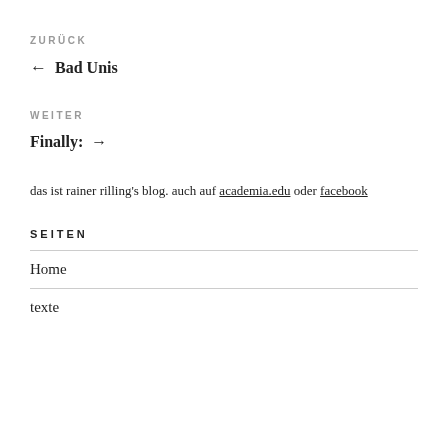ZURÜCK
← Bad Unis
WEITER
Finally: →
das ist rainer rilling's blog. auch auf academia.edu oder facebook
SEITEN
Home
texte